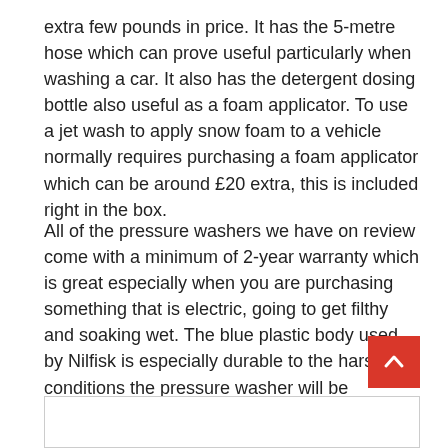extra few pounds in price. It has the 5-metre hose which can prove useful particularly when washing a car. It also has the detergent dosing bottle also useful as a foam applicator. To use a jet wash to apply snow foam to a vehicle normally requires purchasing a foam applicator which can be around £20 extra, this is included right in the box.
All of the pressure washers we have on review come with a minimum of 2-year warranty which is great especially when you are purchasing something that is electric, going to get filthy and soaking wet. The blue plastic body used by Nilfisk is especially durable to the harsh conditions the pressure washer will be exposed to. Coupled with the all-metal bodied motor and you are looking at a device that is built to last.